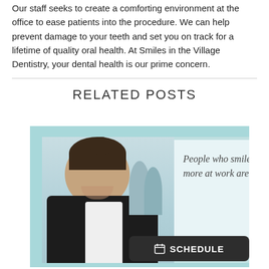Our staff seeks to create a comforting environment at the office to ease patients into the procedure. We can help prevent damage to your teeth and set you on track for a lifetime of quality oral health. At Smiles in the Village Dentistry, your dental health is our prime concern.
RELATED POSTS
[Figure (photo): A smiling professional woman in a black suit with colleagues in the background, alongside text reading 'People who smile more at work are promoted' and a dark Schedule button with calendar icon.]